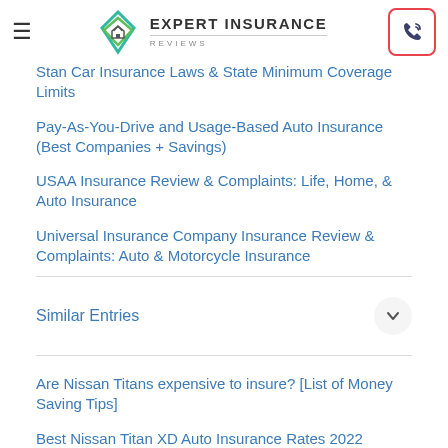Expert Insurance Reviews
Stan Car Insurance Laws & State Minimum Coverage Limits
Pay-As-You-Drive and Usage-Based Auto Insurance (Best Companies + Savings)
USAA Insurance Review & Complaints: Life, Home, & Auto Insurance
Universal Insurance Company Insurance Review & Complaints: Auto & Motorcycle Insurance
Similar Entries
Are Nissan Titans expensive to insure? [List of Money Saving Tips]
Best Nissan Titan XD Auto Insurance Rates 2022
Best Nissan Rogue Hybrid Auto Insurance Rates